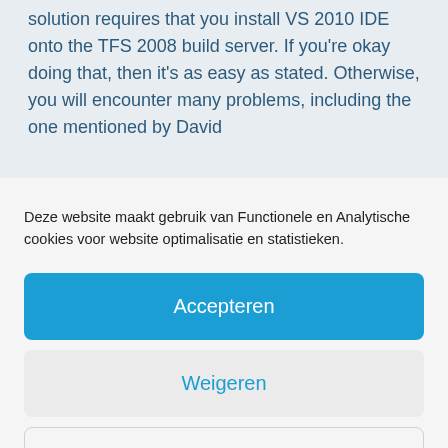solution requires that you install VS 2010 IDE onto the TFS 2008 build server. If you're okay doing that, then it's as easy as stated. Otherwise, you will encounter many problems, including the one mentioned by David
Deze website maakt gebruik van Functionele en Analytische cookies voor website optimalisatie en statistieken.
Accepteren
Weigeren
Voorkeuren
Cookiebeleid  Privacyverklaring